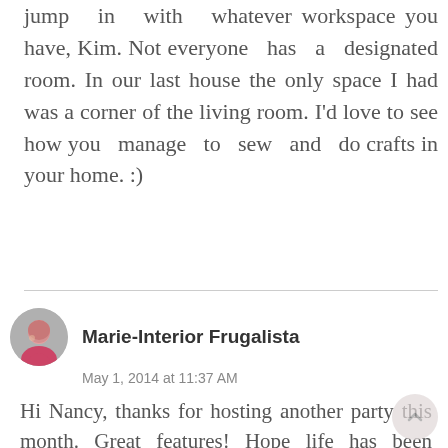jump in with whatever workspace you have, Kim. Not everyone has a designated room. In our last house the only space I had was a corner of the living room. I'd love to see how you manage to sew and do crafts in your home. :)
Marie-Interior Frugalista
May 1, 2014 at 11:37 AM
Hi Nancy, thanks for hosting another party this month. Great features! Hope life has been treating you well